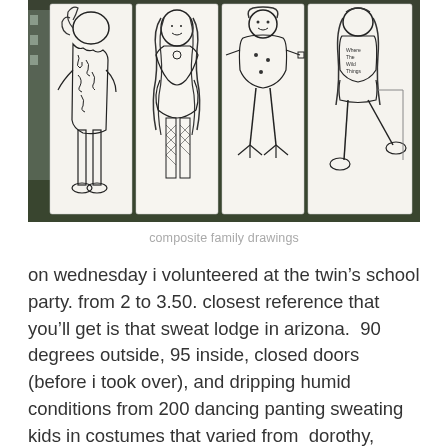[Figure (photo): A photograph of four hand-drawn figures on separate pieces of paper displayed against a blurred outdoor background. Each figure is a child's drawing of a person in black ink on white paper, showing different characters with varying styles of clothing and hair.]
composite family drawings
on wednesday i volunteered at the twin's school party. from 2 to 3.50. closest reference that you'll get is that sweat lodge in arizona.  90 degrees outside, 95 inside, closed doors (before i took over), and dripping humid conditions from 200 dancing panting sweating kids in costumes that varied from  dorothy, ladybug and flower child to rapper, gangsta and  kung fu master. (some home